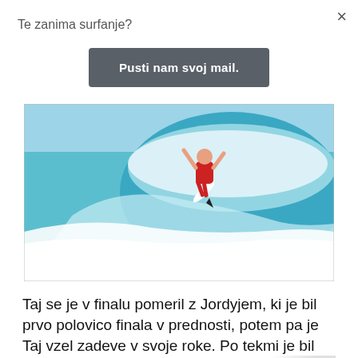×
Te zanima surfanje?
Pusti nam svoj mail.
[Figure (photo): Surfer in a red jersey performing an aerial maneuver on a wave, with ASF (Association of Surfing Professionals) watermark in the bottom left corner. The ocean is turquoise with white foam.]
Taj se je v finalu pomeril z Jordyjem, ki je bil prvo polovico finala v prednosti, potem pa je Taj vzel zadeve v svoje roke. Po tekmi je bil seveda